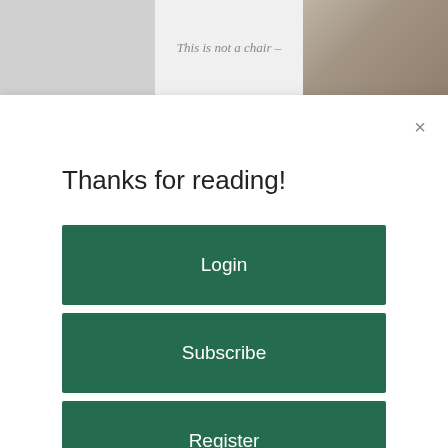[Figure (screenshot): Top banner area showing partial webpage content with text 'This is not a chair –' in italic and a partial image on the right side]
Thanks for reading!
Login
Subscribe
Register